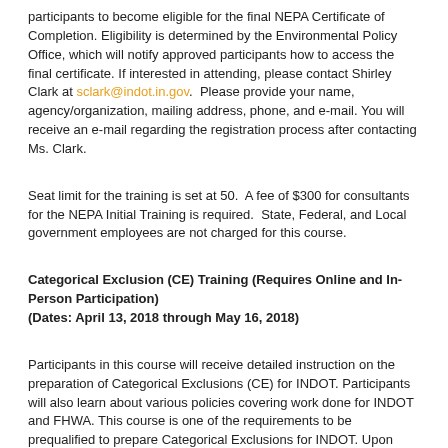participants to become eligible for the final NEPA Certificate of Completion. Eligibility is determined by the Environmental Policy Office, which will notify approved participants how to access the final certificate. If interested in attending, please contact Shirley Clark at sclark@indot.in.gov.  Please provide your name, agency/organization, mailing address, phone, and e-mail. You will receive an e-mail regarding the registration process after contacting Ms. Clark.
Seat limit for the training is set at 50.  A fee of $300 for consultants for the NEPA Initial Training is required.  State, Federal, and Local government employees are not charged for this course.
Categorical Exclusion (CE) Training (Requires Online and In-Person Participation)
(Dates: April 13, 2018 through May 16, 2018)
Participants in this course will receive detailed instruction on the preparation of Categorical Exclusions (CE) for INDOT. Participants will also learn about various policies covering work done for INDOT and FHWA. This course is one of the requirements to be prequalified to prepare Categorical Exclusions for INDOT. Upon completion of the course, participants will be certified in the INDOT CE process.
The CE Training contains two elements: